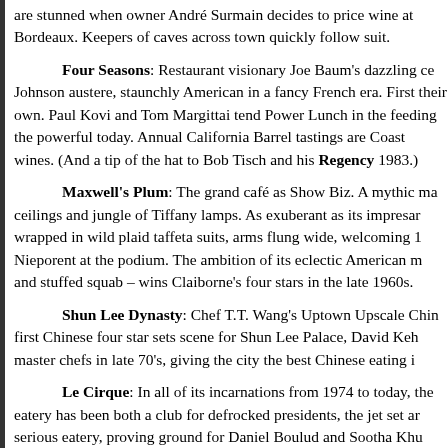are stunned when owner André Surmain decides to price wine at Bordeaux. Keepers of caves across town quickly follow suit.
Four Seasons: Restaurant visionary Joe Baum's dazzling celebration, Philip Johnson austere, staunchly American in a fancy French era. First to make wines their own. Paul Kovi and Tom Margittai tend Power Lunch in the Grill Room, feeding the powerful today. Annual California Barrel tastings are a boon to West Coast wines. (And a tip of the hat to Bob Tisch and his Regency hotel, opened 1983.)
Maxwell's Plum: The grand café as Show Biz. A mythic marvel of stained glass ceilings and jungle of Tiffany lamps. As exuberant as its impresario Warner LeRoy, wrapped in wild plaid taffeta suits, arms flung wide, welcoming 1 and all: Drew Nieporent at the podium. The ambition of its eclectic American menu — clams casino and stuffed squab – wins Claiborne's four stars in the late 1960s.
Shun Lee Dynasty: Chef T.T. Wang's Uptown Upscale Chinese restaurant and first Chinese four star sets scene for Shun Lee Palace, David Keh recruiting Chinese master chefs in late 70's, giving the city the best Chinese eating it has ever had.
Le Cirque: In all of its incarnations from 1974 to today, the Maccioni family eatery has been both a club for defrocked presidents, the jet set and royalty and a serious eatery, proving ground for Daniel Boulud and Sootha Khunn, credited with rediscovery and eventual abuse of crème brûlée.